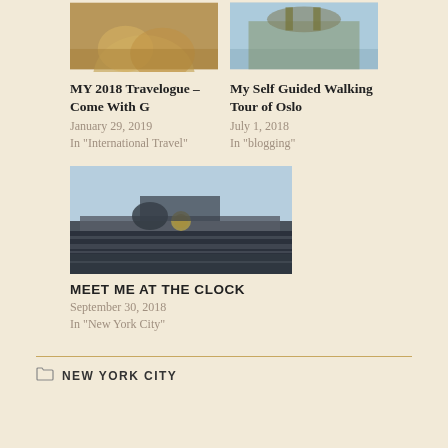[Figure (photo): Partial view of a bronze sculpture, warm golden tones, top portion cropped]
[Figure (photo): Architectural detail with horse statues on a building rooftop against a light blue sky]
MY 2018 Travelogue – Come With G
January 29, 2019
In "International Travel"
My Self Guided Walking Tour of Oslo
July 1, 2018
In "blogging"
[Figure (photo): Close-up of ornate architectural rooftop decoration with clock and sculptural figures against a blue sky]
MEET ME AT THE CLOCK
September 30, 2018
In "New York City"
NEW YORK CITY